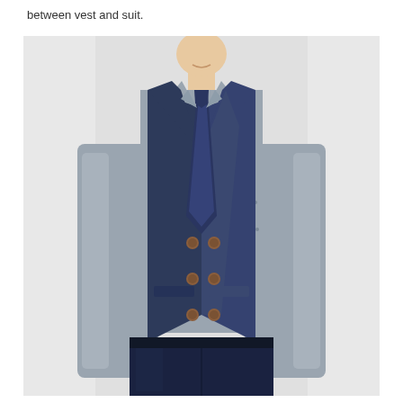between vest and suit.
[Figure (photo): A man wearing a double-breasted navy blue tweed vest over a grey polka dot dress shirt with a navy blue patterned tie and dark navy jeans. The vest features brown buttons arranged in a double-breasted pattern. The photo shows the model from the neck down to the upper thighs against a light grey background.]